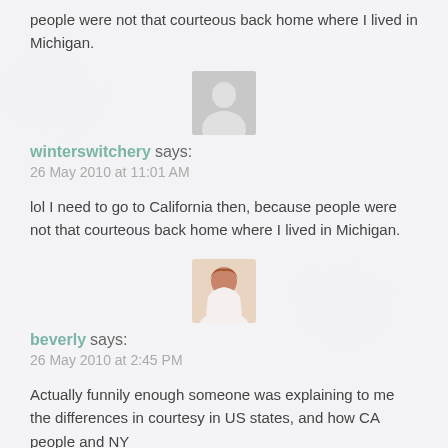people were not that courteous back home where I lived in Michigan.
[Figure (photo): Default grey avatar placeholder image for a commenter]
winterswitchery says:
26 May 2010 at 11:01 AM
lol I need to go to California then, because people were not that courteous back home where I lived in Michigan.
[Figure (photo): Profile photo of commenter Beverly, woman with reddish-brown hair]
beverly says:
26 May 2010 at 2:45 PM
Actually funnily enough someone was explaining to me the differences in courtesy in US states, and how CA people and NY